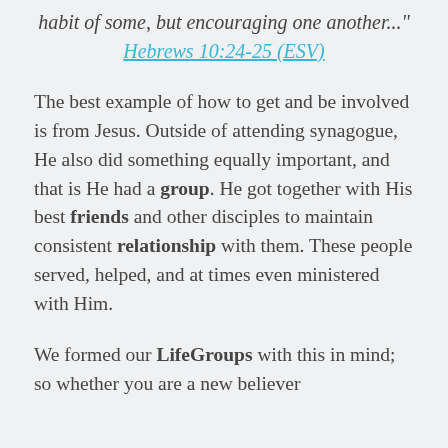habit of some, but encouraging one another..." Hebrews 10:24-25 (ESV)
The best example of how to get and be involved is from Jesus. Outside of attending synagogue, He also did something equally important, and that is He had a group. He got together with His best friends and other disciples to maintain consistent relationship with them. These people served, helped, and at times even ministered with Him.
We formed our LifeGroups with this in mind; so whether you are a new believer